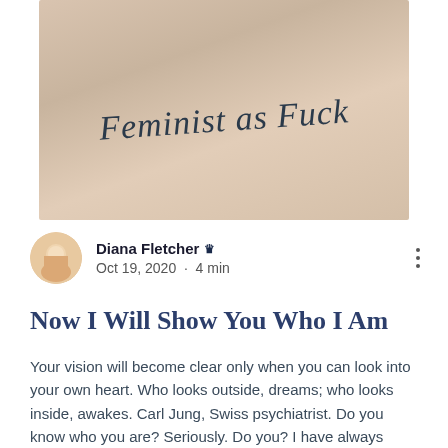[Figure (photo): A close-up photo of a tattoo on skin reading 'Feminist as Fuck' in cursive script handwriting style, dark ink on pale skin background.]
Diana Fletcher 👑
Oct 19, 2020 · 4 min
Now I Will Show You Who I Am
Your vision will become clear only when you can look into your own heart. Who looks outside, dreams; who looks inside, awakes. Carl Jung, Swiss psychiatrist. Do you know who you are? Seriously. Do you? I have always known who I wanted to be. What kind of woman I wanted to be. But I wasn't always her and I am not always her. But I keep trying, standing up